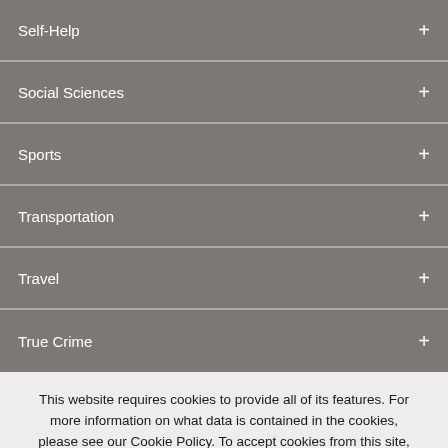Self-Help
Social Sciences
Sports
Transportation
Travel
True Crime
This website requires cookies to provide all of its features. For more information on what data is contained in the cookies, please see our Cookie Policy. To accept cookies from this site, please click the Allow Cookies button below.
Allow Cookies